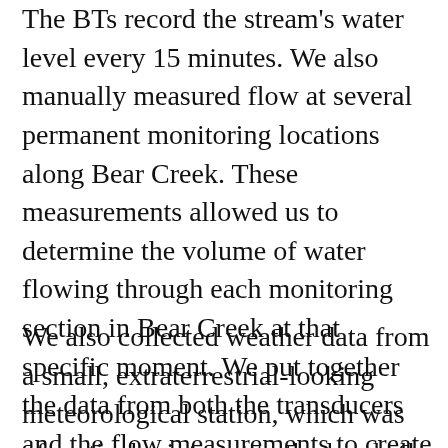The BTs record the stream's water level every 15 minutes. We also manually measured flow at several permanent monitoring locations along Bear Creek. These measurements allowed us to determine the volume of water flowing through each monitoring section in Bear Creek at that specific moment. We put together the data from both the transducers and the flow measurements to create a rating curve, an equation that approximates streamflow volume over the course of the season.
We also collected weather data from a small, extraterrestrial-looking meteorological station, which was of particular interest to the local elk and moose who ultimately pushed it over with the help of November snows. The “met” station recorded temperature, wind speed and